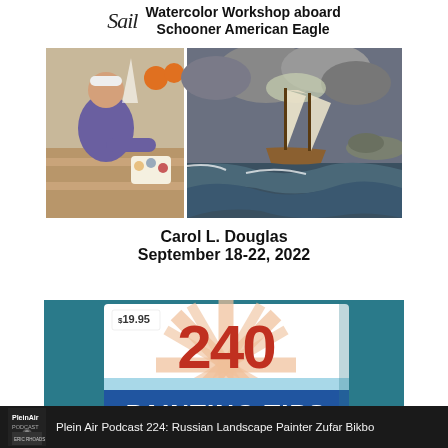Watercolor Workshop aboard Schooner American Eagle
[Figure (photo): Left: person painting at a wooden table on a boat deck; Right: oil painting of a two-masted schooner sailing through rough seas under dramatic storm clouds]
Carol L. Douglas
September 18-22, 2022
[Figure (photo): Book cover showing '240 Painting Tips' with large red '240' and blue 'PAINTING TIPS' text on a sunburst background, price tag $19.95]
Plein Air Podcast 224: Russian Landscape Painter Zufar Bikbo